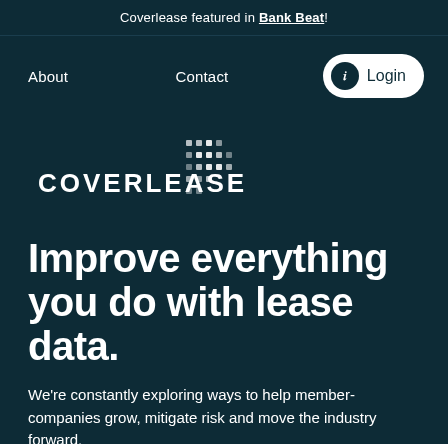Coverlease featured in Bank Beat!
About
Contact
Login
[Figure (logo): Coverlease logo with dotted grid pattern icon and wordmark COVERLEASE in white on dark teal background]
Improve everything you do with lease data.
We're constantly exploring ways to help member-companies grow, mitigate risk and move the industry forward.